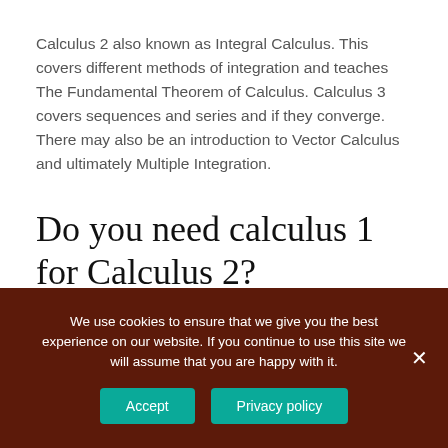Calculus 2 also known as Integral Calculus. This covers different methods of integration and teaches The Fundamental Theorem of Calculus. Calculus 3 covers sequences and series and if they converge. There may also be an introduction to Vector Calculus and ultimately Multiple Integration.
Do you need calculus 1 for Calculus 2?
We use cookies to ensure that we give you the best experience on our website. If you continue to use this site we will assume that you are happy with it.